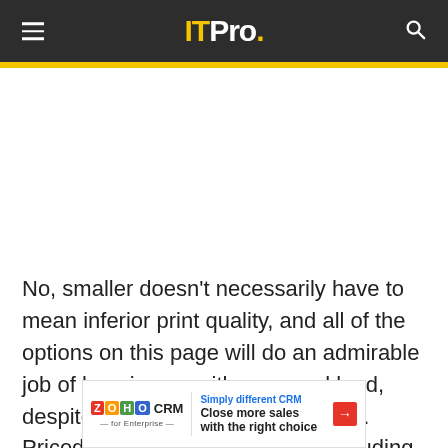ITPro.
No, smaller doesn't necessarily have to mean inferior print quality, and all of the options on this page will do an admirable job of keeping up with your workload, despite their diminutive proportions. Priced between £60 and £275 excluding VAT, most of these not only print a good page in mono or colour but are good for
[Figure (other): Zoho CRM advertisement banner: 'Simply different CRM — Close more sales with the right choice' with red arrow button]